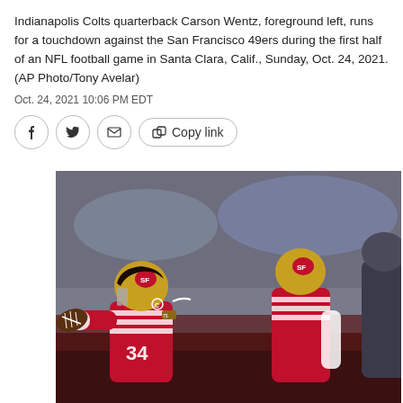Indianapolis Colts quarterback Carson Wentz, foreground left, runs for a touchdown against the San Francisco 49ers during the first half of an NFL football game in Santa Clara, Calif., Sunday, Oct. 24, 2021. (AP Photo/Tony Avelar)
Oct. 24, 2021 10:06 PM EDT
[Figure (photo): San Francisco 49ers player in red and gold uniform holding a football outward with arm extended, celebrating on the field. Another 49ers player in red jersey and gold helmet is visible in the background. Red stadium crowd behind them.]